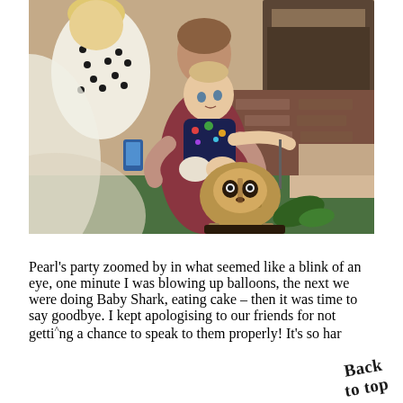[Figure (photo): A baby in a colorful onesie being held up by an adult in a maroon top, with another person in a white polka-dot blouse nearby. A sloth-shaped cake sits on a green-covered table in the foreground. A brick fireplace is visible in the background.]
Pearl’s party zoomed by in what seemed like a blink of an eye, one minute I was blowing up balloons, the next we were doing Baby Shark, eating cake – then it was time to say goodbye. I kept apologising to our friends for not getting a chance to speak to them properly! It’s so har…